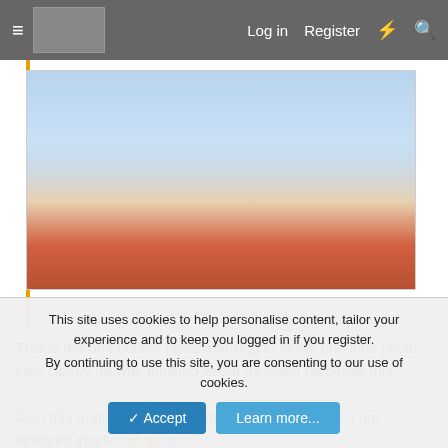Log in  Register
[Figure (photo): Forum post embedded image showing a person in a red jacket against a blue background, partially visible, with a 'Click to expand...' link below]
Click to expand...
This is the belt buckle I was referring to in my previous post!! Like clearly he was thinking about us when he chose this..

Also this angle and movement is *destroying* me. I am wrecked inside. 😢😢💧
staywild23
Premium Member
This site uses cookies to help personalise content, tailor your experience and to keep you logged in if you register.
By continuing to use this site, you are consenting to our use of cookies.